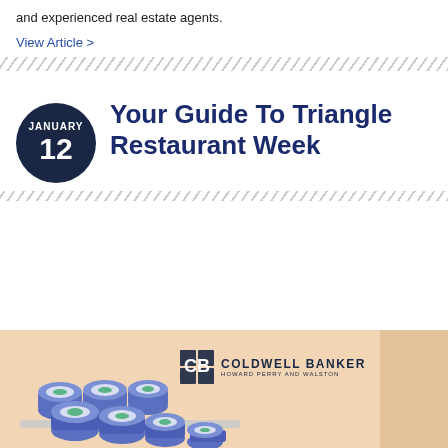and experienced real estate agents.
View Article >
Your Guide To Triangle Restaurant Week
[Figure (illustration): Sushi rolls illustration with Coldwell Banker Howard Perry and Walston logo on a peach/salmon background banner]
COLDWELL BANKER HOWARD PERRY AND WALSTON